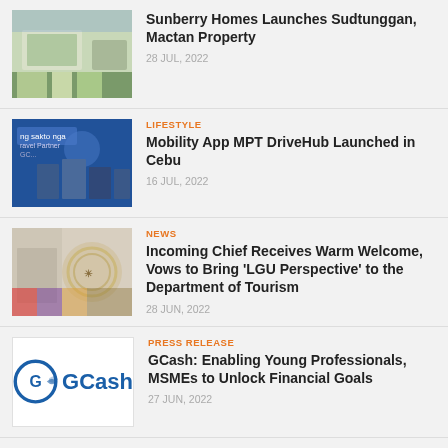Sunberry Homes Launches Sudtunggan, Mactan Property | 28 JUL, 2022
LIFESTYLE | Mobility App MPT DriveHub Launched in Cebu | 16 JUL, 2022
NEWS | Incoming Chief Receives Warm Welcome, Vows to Bring 'LGU Perspective' to the Department of Tourism | 28 JUN, 2022
PRESS RELEASE | GCash: Enabling Young Professionals, MSMEs to Unlock Financial Goals | 27 JUN, 2022
PRESS RELEASE | PrimaryHomes Breaks Ground On Mactan Project's